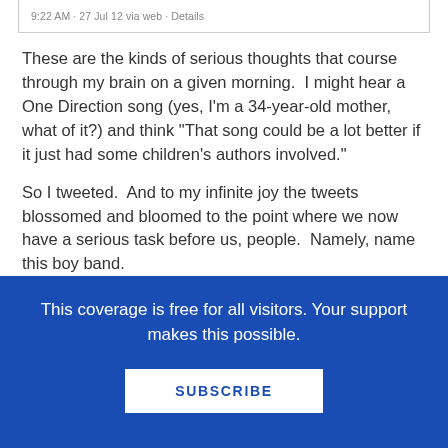9:22 AM - 27 Jul 12 via web · Details
These are the kinds of serious thoughts that course through my brain on a given morning.  I might hear a One Direction song (yes, I'm a 34-year-old mother, what of it?) and think "That song could be a lot better if it just had some children's authors involved."
So I tweeted.  And to my infinite joy the tweets blossomed and bloomed to the point where we now have a serious task before us, people.  Namely, name this boy band.
↓  SCROLL TO KEEP READING THIS POST  ↓
This coverage is free for all visitors. Your support makes this possible.
SUBSCRIBE